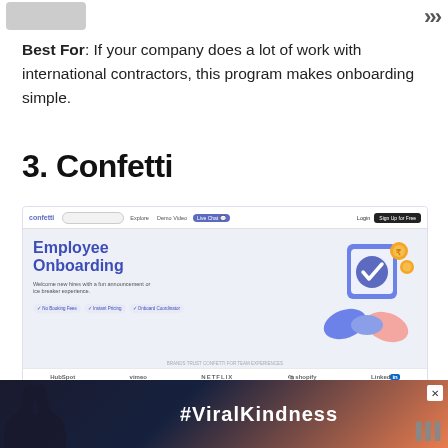Best For: If your company does a lot of work with international contractors, this program makes onboarding simple.
3. Confetti
[Figure (screenshot): Screenshot of the Confetti website showing an Employee Onboarding page with the tagline 'Welcome new hires with a fun announcement or ice breaker experience.' Features badges for No Booking Fees, Instant Pricing, and Onboard Coordinator. Below the hero section, logos of HubSpot, vimeo, NETFLIX, Shopify, and LinkedIn are shown.]
image source: withconfetti
Onboarding is not all about paperwork and compliance, it is also about...